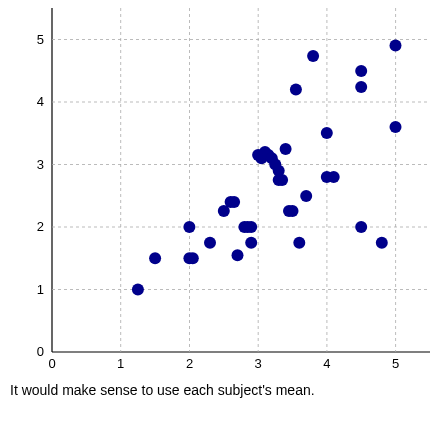[Figure (continuous-plot): Scatter plot showing a positive correlation between two variables. X-axis ranges from 0 to 5.5 with ticks at 0,1,2,3,4,5. Y-axis ranges from 0 to 5+ with ticks at 0,1,2,3,4,5. Approximately 40 dark blue circular data points clustered along a positive linear trend from lower-left to upper-right.]
It would make sense to use each subject's mean.